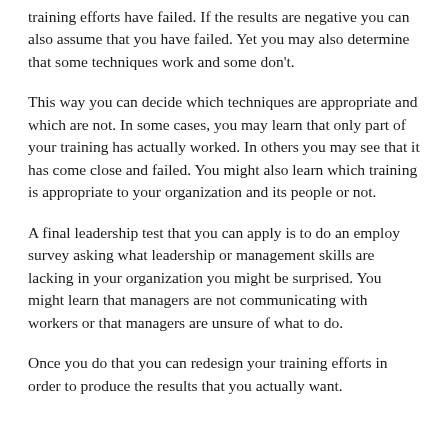training efforts have failed. If the results are negative you can also assume that you have failed. Yet you may also determine that some techniques work and some don't.
This way you can decide which techniques are appropriate and which are not. In some cases, you may learn that only part of your training has actually worked. In others you may see that it has come close and failed. You might also learn which training is appropriate to your organization and its people or not.
A final leadership test that you can apply is to do an employ survey asking what leadership or management skills are lacking in your organization you might be surprised. You might learn that managers are not communicating with workers or that managers are unsure of what to do.
Once you do that you can redesign your training efforts in order to produce the results that you actually want.